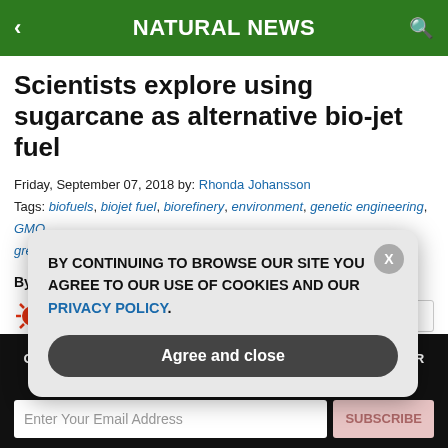NATURAL NEWS
Scientists explore using sugarcane as alternative bio-jet fuel
Friday, September 07, 2018 by: Rhonda Johansson
Tags: biofuels, biojet fuel, biorefinery, environment, genetic engineering, GMO, green energy, jet fuel, power, sugarcane, sugarcane-derived fuel
Bypass censorship by sharing this link:
GET THE WORLD'S BEST NATURAL HEALTH NEWSLETTER DELIVERED STRAIGHT TO YOUR INBOX
BY CONTINUING TO BROWSE OUR SITE YOU AGREE TO OUR USE OF COOKIES AND OUR PRIVACY POLICY.